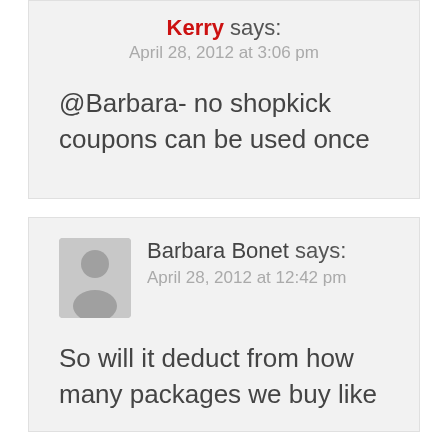Kerry says:
April 28, 2012 at 3:06 pm
@Barbara- no shopkick coupons can be used once
Barbara Bonet says:
April 28, 2012 at 12:42 pm
So will it deduct from how many packages we buy like